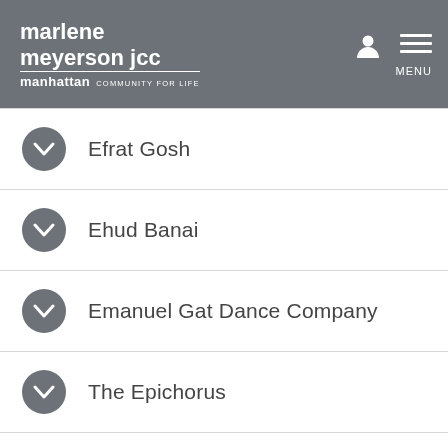marlene meyerson jcc manhattan COMMUNITY FOR LIFE MENU
Efrat Gosh
Ehud Banai
Emanuel Gat Dance Company
The Epichorus
Eran Zur + Korin Alal
Eran Zur And Yoni Bloch
Erelli Tal...